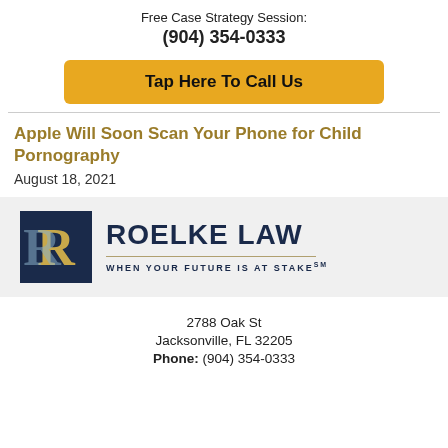Free Case Strategy Session:
(904) 354-0333
Tap Here To Call Us
Apple Will Soon Scan Your Phone for Child Pornography
August 18, 2021
[Figure (logo): Roelke Law logo with navy blue square containing stylized R letter in gold/cream, company name ROELKE LAW in navy, tagline WHEN YOUR FUTURE IS AT STAKE℠]
2788 Oak St
Jacksonville, FL 32205
Phone: (904) 354-0333